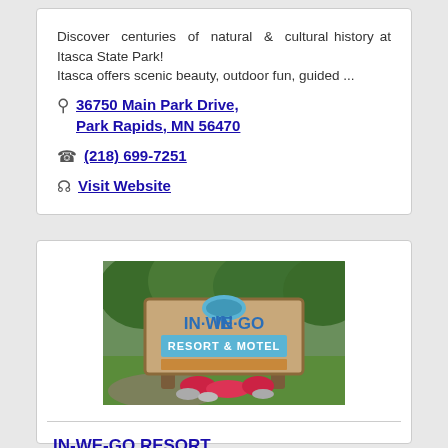Discover centuries of natural & cultural history at Itasca State Park! Itasca offers scenic beauty, outdoor fun, guided ...
36750 Main Park Drive, Park Rapids, MN 56470
(218) 699-7251
Visit Website
[Figure (photo): Photo of a wooden sign reading IN-WE-GO RESORT & MOTEL surrounded by green landscaping and red flowers]
IN-WE-GO RESORT